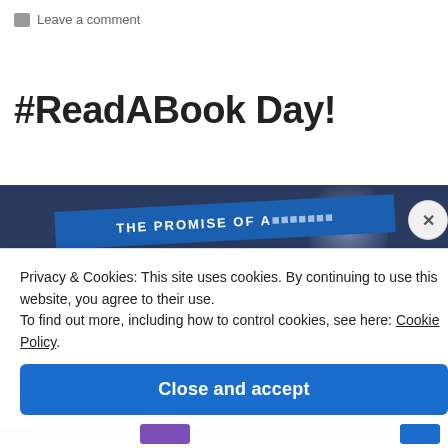Leave a comment
#ReadABook Day!
[Figure (photo): Photo of a book spine with text 'THE PROMISE OF A...' on a blue band, dark background]
Privacy & Cookies: This site uses cookies. By continuing to use this website, you agree to their use.
To find out more, including how to control cookies, see here: Cookie Policy.
Close and accept